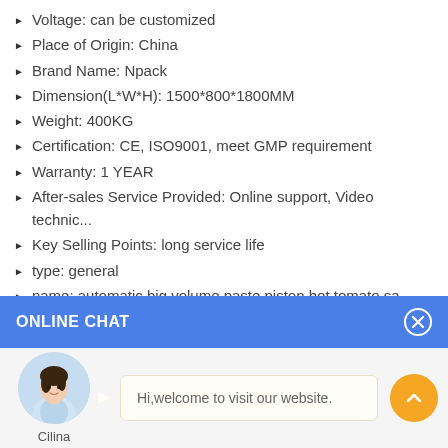Voltage: can be customized
Place of Origin: China
Brand Name: Npack
Dimension(L*W*H): 1500*800*1800MM
Weight: 400KG
Certification: CE, ISO9001, meet GMP requirement
Warranty: 1 YEAR
After-sales Service Provided: Online support, Video technic...
Key Selling Points: long service life
type: general
name: automatic big volume paste piston hot tomato sa...
usage: piston filling machine for sauce
material: stainless steel 304/316
ONLINE CHAT
[Figure (illustration): Chat widget with avatar of woman named Cilina and message bubble saying 'Hi,welcome to visit our website.']